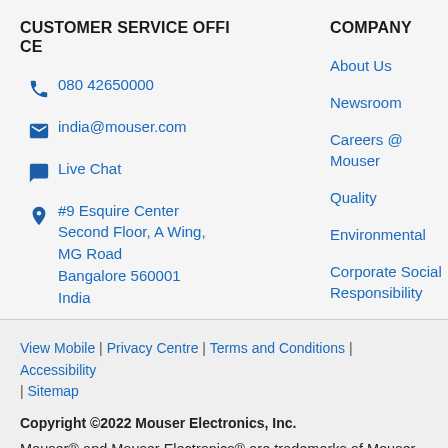CUSTOMER SERVICE OFFICE
080 42650000
india@mouser.com
Live Chat
#9 Esquire Center
Second Floor, A Wing,
MG Road
Bangalore 560001
India
COMPANY
About Us
Newsroom
Careers @ Mouser
Quality
Environmental
Corporate Social Responsibility
R
View Mobile | Privacy Centre | Terms and Conditions | Accessibility | Sitemap
Copyright ©2022 Mouser Electronics, Inc.
Mouser® and Mouser Electronics® are trademarks of Mouser Electronics, Inc. in the U.S. and/or other countries. All other trademarks are the property of their respective owners. Corporate